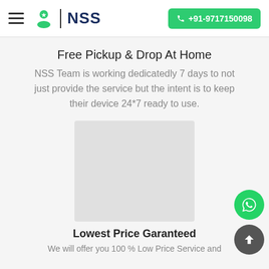NSS | +91-9717150098
Free Pickup & Drop At Home
NSS Team is working dedicatedly 7 days to not just provide the service but the intent is to keep their device 24*7 ready to use.
[Figure (photo): Placeholder image (light gray rectangle)]
Lowest Price Garanteed
We will offer you 100 % Low Price Service and